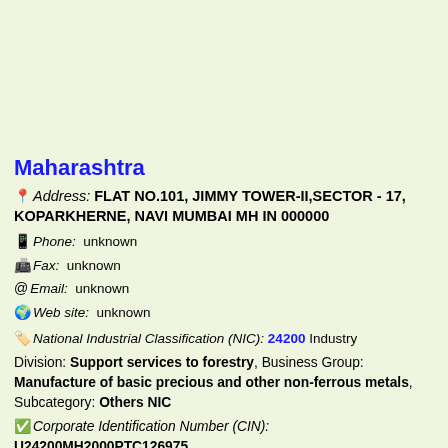Maharashtra
Address: FLAT NO.101, JIMMY TOWER-II,SECTOR - 17, KOPARKHERNE, NAVI MUMBAI MH IN 000000
Phone: unknown
Fax: unknown
Email: unknown
Web site: unknown
National Industrial Classification (NIC): 24200 Industry
Division: Support services to forestry, Business Group: Manufacture of basic precious and other non-ferrous metals, Subcategory: Others NIC
Corporate Identification Number (CIN): U24200MH2000PTC126975
Listed/Unlisted: This Company is unlisted in the Stock Exchanges in India